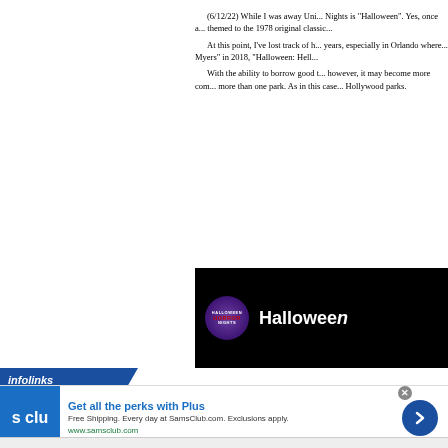(6/12/22) While I was away Uni... Nights is "Halloween". Yes, once a... themed to the 1978 original classic... At this point, I've lost track of h... years, especially in Orlando where... Myers" in 2018, "Halloween: Hell... With the ability to borrow good t... however, it may become more com... more than one park. As in this case... Hollywood parks.
[Figure (screenshot): Black banner showing Halloween Horror Nights logo (purple circle with HALLOWEEN HORROR NIGHTS text) and the word 'Halloween' in white text on black background]
infolinks
Get all the perks with Plus
Free Shipping. Every day at SamsClub.com. Exclusions apply.
www.samsclub.com